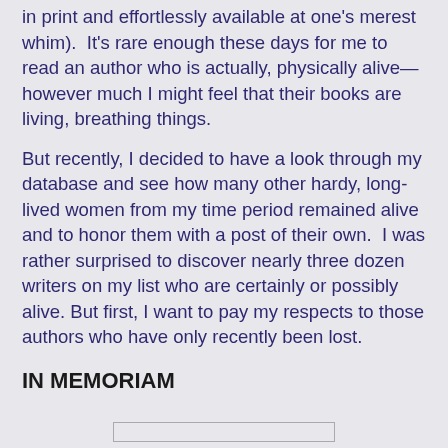in print and effortlessly available at one's merest whim).  It's rare enough these days for me to read an author who is actually, physically alive—however much I might feel that their books are living, breathing things.
But recently, I decided to have a look through my database and see how many other hardy, long-lived women from my time period remained alive and to honor them with a post of their own.  I was rather surprised to discover nearly three dozen writers on my list who are certainly or possibly alive. But first, I want to pay my respects to those authors who have only recently been lost.
IN MEMORIAM